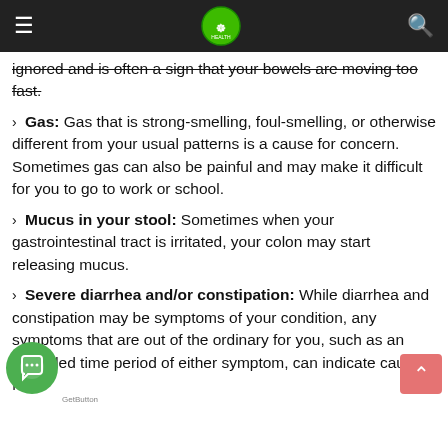[Navigation bar with hamburger menu, logo, and search icon]
ignored and is often a sign that your bowels are moving too fast.
Gas: Gas that is strong-smelling, foul-smelling, or otherwise different from your usual patterns is a cause for concern. Sometimes gas can also be painful and may make it difficult for you to go to work or school.
Mucus in your stool: Sometimes when your gastrointestinal tract is irritated, your colon may start releasing mucus.
Severe diarrhea and/or constipation: While diarrhea and constipation may be symptoms of your condition, any symptoms that are out of the ordinary for you, such as an extended time period of either symptom, can indicate cause for